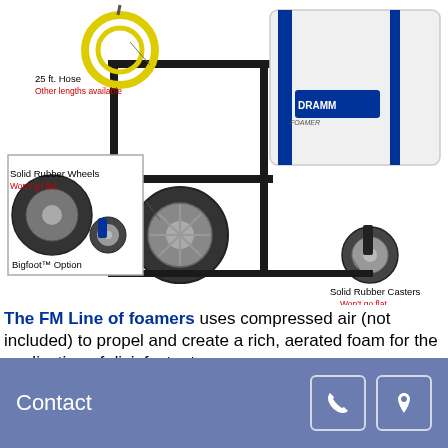[Figure (photo): DRAMM Foamer product photo showing a wheeled cart with a large white tank labeled DRAMM FOAMER. Annotations point to: '25 ft. Hose / Other lengths available', 'Solid Rubber Wheels / Won't go flat', 'Solid Rubber Casters / Won't go flat'. An inset box shows a close-up of the wheels labeled 'Bigfoot™ Option'.]
The FM Line of foamers uses compressed air (not included) to propel and create a rich, aerated foam for the application of disinfectants.
When connected to a compressor, the FM units can throw a foam up to 15 feet, providing excellent coverage and a persistent foam.
Unlike hydraulic sprayers, the foam created with compressed air is much richer and will last on surfaces
Contact